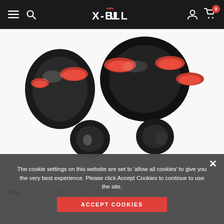X-BULL navigation bar with menu, search, logo, account, cart (0)
[Figure (photo): Close-up product photo of black metal D-shackles with red polyurethane isolator rings. The hardware is shiny black with red rubber/urethane spacers stacked between the shackle components. White background.]
FREE SHIPPING ON ALL ORDERS
Shipping to: United States. Excludes: Alaska/Hawaii, US Protectorates, A...
The cookie settings on this website are set to 'allow all cookies' to give you the very best experience. Please click Accept Cookies to continue to use the site.
ACCEPT COOKIES